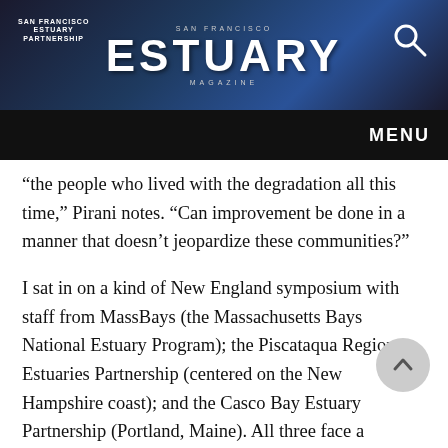ESTUARY MAGAZINE
“the people who lived with the degradation all this time,” Pirani notes. “Can improvement be done in a manner that doesn’t jeopardize these communities?”
I sat in on a kind of New England symposium with staff from MassBays (the Massachusetts Bays National Estuary Program); the Piscataqua Region Estuaries Partnership (centered on the New Hampshire coast); and the Casco Bay Estuary Partnership (Portland, Maine). All three face a challenge peculiar to their corner of the world. For reasons not well understood, relative sea-level rise is greater in the northeaste than anywhere else on the planet, and stands to happen sooner. While the more typical coastline, like